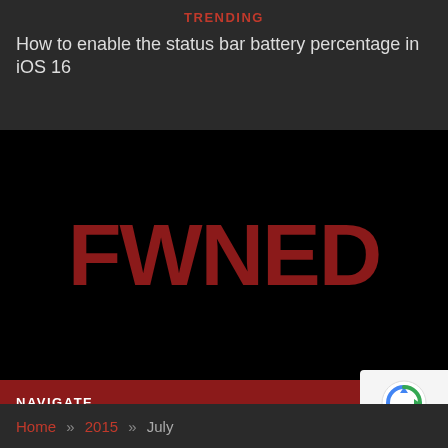TRENDING
How to enable the status bar battery percentage in iOS 16
[Figure (logo): FWNED logo in dark red bold text on black background]
NAVIGATE
Home » 2015 » July